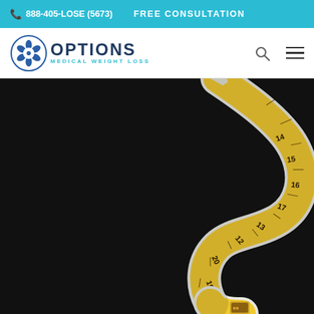📞 888-405-LOSE (5673)   FREE CONSULTATION
[Figure (logo): Options Medical Weight Loss logo with a floral/snowflake icon in blue and text 'OPTIONS MEDICAL WEIGHT LOSS']
[Figure (photo): A yellow and white measuring tape coiled in an S-shape against a dark black background, suggesting weight loss / measurement theme]